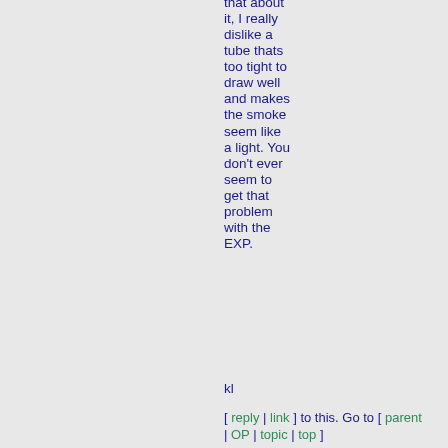that about it, I really dislike a tube thats too tight to draw well and makes the smoke seem like a light. You don't ever seem to get that problem with the EXP.
kl
[ reply | link ] to this. Go to [ parent | OP | topic | top ]